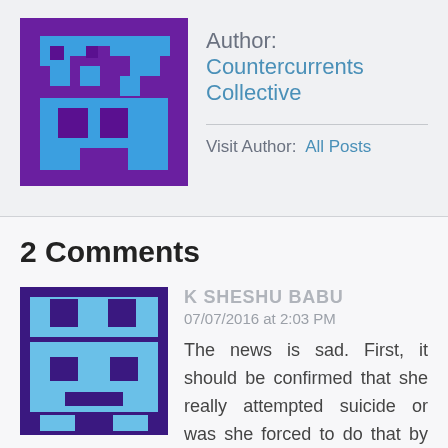[Figure (illustration): Purple pixel-art avatar icon with blue geometric face design, top section]
Author: Countercurrents Collective
Visit Author:  All Posts
2 Comments
[Figure (illustration): Purple and light blue pixel-art avatar icon with face design, comment section]
K SHESHU BABU
07/07/2016 at 2:03 PM
The news is sad. First, it should be confirmed that she really attempted suicide or was she forced to do that by the prison staff or government. She is being tortured since her arrest as whistleblower. The civil socidty should rise to the occasion...